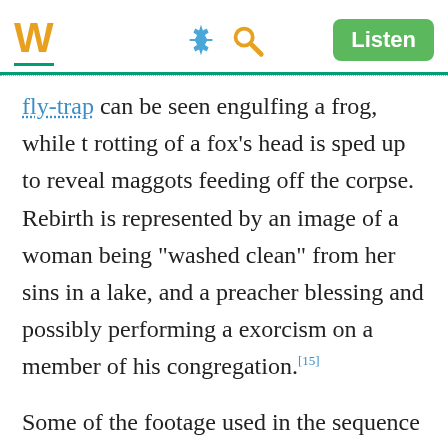W  [gear icon] [search icon]  Listen
fly-trap can be seen engulfing a frog, while the rotting of a fox's head is sped up to reveal maggots feeding off the corpse. Rebirth is represented by an image of a woman being "washed clean" from her sins in a lake, and a preacher blessing and possibly performing an exorcism on a member of his congregation.[15]
Some of the footage used in the sequence was filmed on location. Digital Kitchen took a fou...